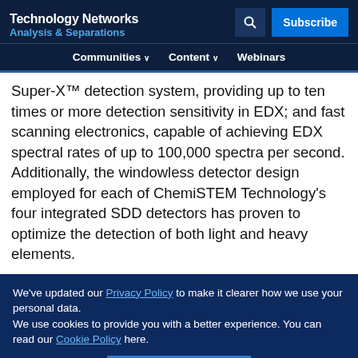Technology Networks – Analysis & Separations
Super-X™ detection system, providing up to ten times or more detection sensitivity in EDX; and fast scanning electronics, capable of achieving EDX spectral rates of up to 100,000 spectra per second. Additionally, the windowless detector design employed for each of ChemiSTEM Technology's four integrated SDD detectors has proven to optimize the detection of both light and heavy elements.
We've updated our Privacy Policy to make it clearer how we use your personal data.
We use cookies to provide you with a better experience. You can read our Cookie Policy here.
I Understand
sensitive to electron beam damage, such as composition analysis in nanometer... Gallium Nitride...